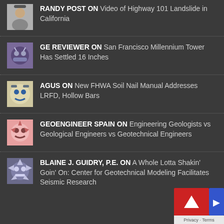RANDY POST ON Video of Highway 101 Landslide in California
GE REVIEWER ON San Francisco Millennium Tower Has Settled 16 Inches
AGUS ON New FHWA Soil Nail Manual Addresses LRFD, Hollow Bars
GEOENGINEER SPAIN ON Engineering Geologists vs Geological Engineers vs Geotechnical Engineers
BLAINE J. GUIDRY, P.E. ON A Whole Lotta Shakin' Goin' On: Center for Geotechnical Modeling Facilitates Seismic Research
[Figure (logo): Red scroll-to-top button widget with upward arrow, with Privacy · Terms text below]